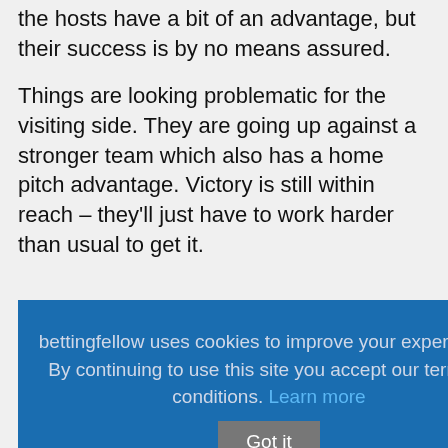the hosts have a bit of an advantage, but their success is by no means assured.
Things are looking problematic for the visiting side. They are going up against a stronger team which also has a home pitch advantage. Victory is still within reach – they'll just have to work harder than usual to get it.
bettingfellow uses cookies to improve your experience. By continuing to use this site you accept our terms & conditions. Learn more  Got it
The Sky Blues's previous away game against